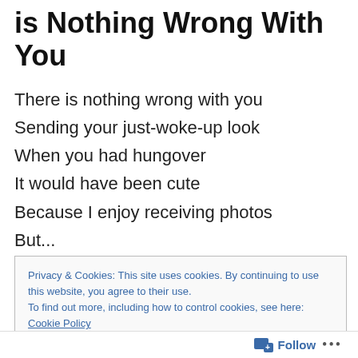is Nothing Wrong With You
There is nothing wrong with you
Sending your just-woke-up look
When you had hungover
It would have been cute
Because I enjoy receiving photos
But...

There is nothing wrong with you
Sending 2...3...4... messages in a row
Privacy & Cookies: This site uses cookies. By continuing to use this website, you agree to their use.
To find out more, including how to control cookies, see here: Cookie Policy
Follow ...